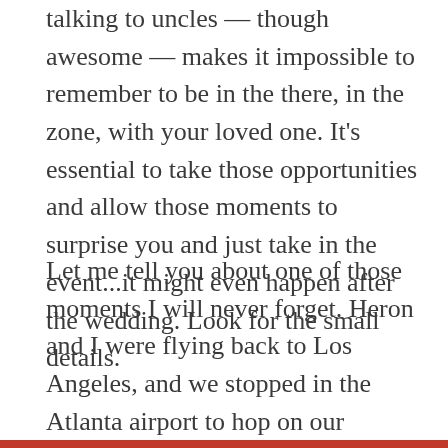talking to uncles — though awesome — makes it impossible to remember to be in the there, in the zone, with your loved one. It's essential to take those opportunities and allow those moments to surprise you and just take in the event...it might even happen after the wedding. Look for the small details.
Let me tell you about one of those moments I will never forget. Heron and I were flying back to Los Angeles, and we stopped in the Atlanta airport to hop on our connection to LAX. Heron and I had a couple of drinks, and we were laughing and smiling and being generally in love as we moved throughout that monstrous airport in Georgia. Well, I had been